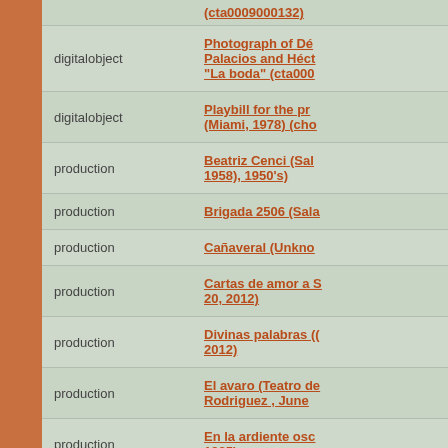| type | title |
| --- | --- |
|  | (cta0009000132) |
| digitalobject | Photograph of Dé Palacios and Héct "La boda" (cta000 |
| digitalobject | Playbill for the pr (Miami, 1978) (cho |
| production | Beatriz Cenci (Sal 1958), 1950's) |
| production | Brigada 2506 (Sala |
| production | Cañaveral (Unkno |
| production | Cartas de amor a S 20, 2012) |
| production | Divinas palabras (( 2012) |
| production | El avaro (Teatro de Rodriguez , June |
| production | En la ardiente osc 1985) |